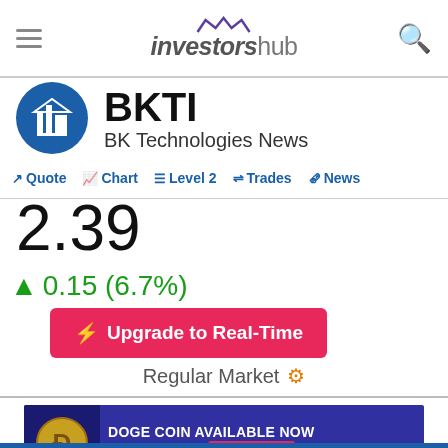investorshub
BKTI
BK Technologies News
Quote  Chart  Level 2  Trades  News
2.39
0.15 (6.7%)
Upgrade to Real-Time
Regular Market
[Figure (infographic): Advertisement banner for tastyworks featuring Dogecoin. Text reads: DOGE COIN AVAILABLE NOW AT tastyworks. Get Started button.]